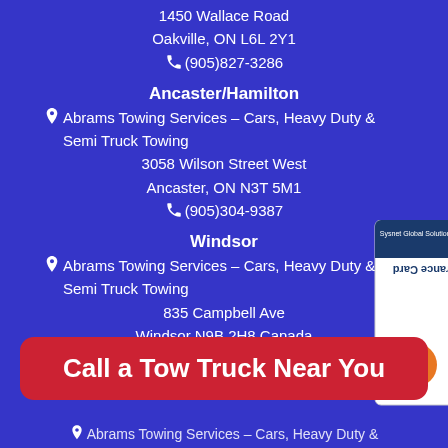1450 Wallace Road
Oakville, ON L6L 2Y1
(905)827-3286
Ancaster/Hamilton
Abrams Towing Services – Cars, Heavy Duty & Semi Truck Towing
3058 Wilson Street West
Ancaster, ON N3T 5M1
(905)304-9387
Windsor
Abrams Towing Services – Cars, Heavy Duty & Semi Truck Towing
835 Campbell Ave
Windsor N9B 2H8 Canada
(519)977-5656
[Figure (other): Sysnet Global Solutions Assurance Card with orange arrow button]
Call a Tow Truck Near You
Abrams Towing Services – Cars, Heavy Duty &